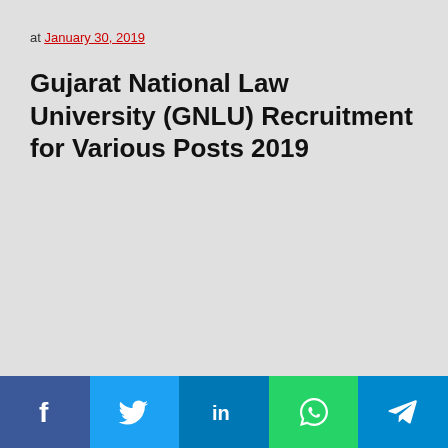at January 30, 2019
Gujarat National Law University (GNLU) Recruitment for Various Posts 2019
[Figure (other): Social media share buttons bar: Facebook, Twitter, LinkedIn, WhatsApp, Telegram]